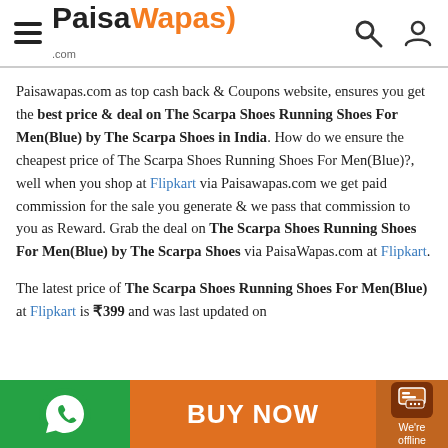PaisaWapas.com
Paisawapas.com as top cash back & Coupons website, ensures you get the best price & deal on The Scarpa Shoes Running Shoes For Men(Blue) by The Scarpa Shoes in India. How do we ensure the cheapest price of The Scarpa Shoes Running Shoes For Men(Blue)?, well when you shop at Flipkart via Paisawapas.com we get paid commission for the sale you generate & we pass that commission to you as Reward. Grab the deal on The Scarpa Shoes Running Shoes For Men(Blue) by The Scarpa Shoes via PaisaWapas.com at Flipkart.
The latest price of The Scarpa Shoes Running Shoes For Men(Blue) at Flipkart is ₹399 and was last updated on